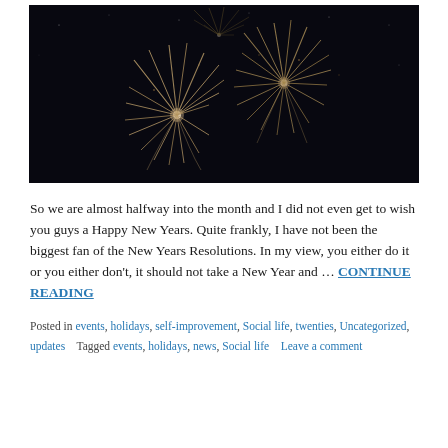[Figure (photo): Fireworks exploding against a dark night sky, showing golden and white starburst patterns]
So we are almost halfway into the month and I did not even get to wish you guys a Happy New Years. Quite frankly, I have not been the biggest fan of the New Years Resolutions. In my view, you either do it or you either don't, it should not take a New Year and … CONTINUE READING
Posted in events, holidays, self-improvement, Social life, twenties, Uncategorized, updates    Tagged events, holidays, news, Social life    Leave a comment